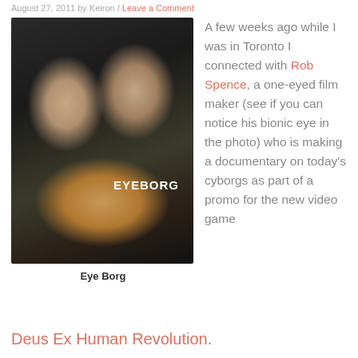August 27, 2011 by Keiron / Leave a Comment
[Figure (photo): Two men smiling and posing together. The man on the left wears a dark polo shirt. The man on the right wears a white t-shirt with 'EYEBORG' text and a logo, and holds up a prosthetic robotic hand. The photo is taken indoors.]
Eye Borg
A few weeks ago while I was in Toronto I connected with Rob Spence, a one-eyed film maker (see if you can notice his bionic eye in the photo) who is making a documentary on today's cyborgs as part of a promo for the new video game
Deus Ex Human Revolution.